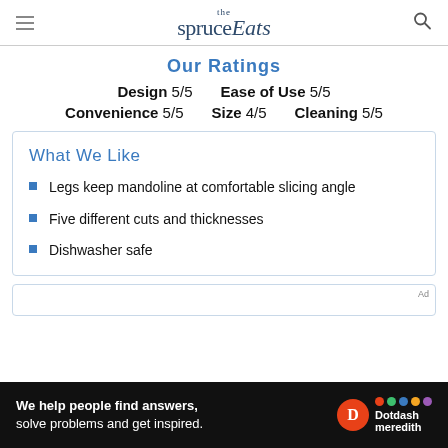the spruce Eats
Our Ratings
Design 5/5   Ease of Use 5/5
Convenience 5/5   Size 4/5   Cleaning 5/5
What We Like
Legs keep mandoline at comfortable slicing angle
Five different cuts and thicknesses
Dishwasher safe
[Figure (screenshot): Dotdash Meredith advertisement banner at the bottom: 'We help people find answers, solve problems and get inspired.' with D logo and colorful dots logo]